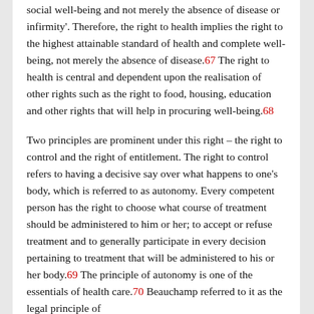social well-being and not merely the absence of disease or infirmity'. Therefore, the right to health implies the right to the highest attainable standard of health and complete well-being, not merely the absence of disease.67 The right to health is central and dependent upon the realisation of other rights such as the right to food, housing, education and other rights that will help in procuring well-being.68
Two principles are prominent under this right – the right to control and the right of entitlement. The right to control refers to having a decisive say over what happens to one's body, which is referred to as autonomy. Every competent person has the right to choose what course of treatment should be administered to him or her; to accept or refuse treatment and to generally participate in every decision pertaining to treatment that will be administered to his or her body.69 The principle of autonomy is one of the essentials of health care.70 Beauchamp referred to it as the legal principle of